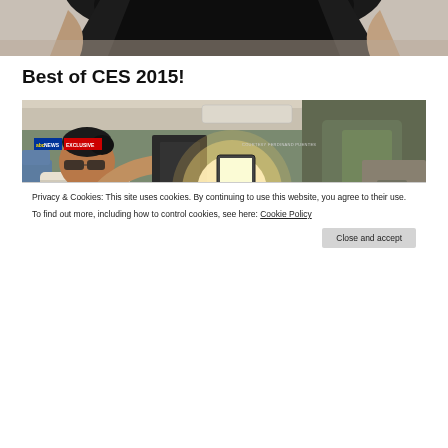[Figure (photo): Top portion of a photo, appears to be a person's torso/back in dark clothing against a neutral background, cropped at top of page]
Best of CES 2015!
[Figure (screenshot): ABC News Exclusive video screenshot showing airplane interior with passengers seated, one person appearing to react to a bright light, with copyright credit to FERDINAND PUENTES]
Privacy & Cookies: This site uses cookies. By continuing to use this website, you agree to their use.
To find out more, including how to control cookies, see here: Cookie Policy
Close and accept